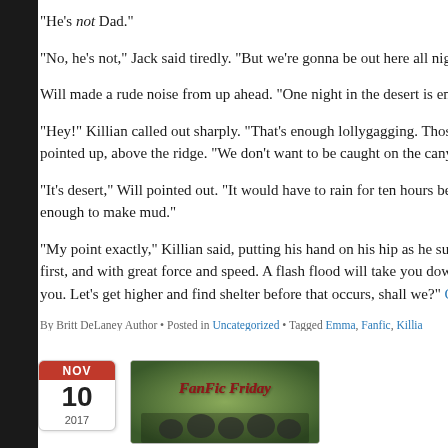“He’s not Dad.”
“No, he’s not,” Jack said tiredly. “But we’re gonna be out here all nigh…
Will made a rude noise from up ahead. “One night in the desert is en…
“Hey!” Killian called out sharply. “That’s enough lollygagging. Those a… pointed up, above the ridge. “We don’t want to be caught on the cany…
“It’s desert,” Will pointed out. “It would have to rain for ten hours befo… enough to make mud.”
“My point exactly,” Killian said, putting his hand on his hip as he surv… first, and with great force and speed. A flash flood will take you down… you. Let’s get higher and find shelter before that occurs, shall we?” C…
By Britt DeLaney Author • Posted in Uncategorized • Tagged Emma, Fanfic, Killia…
[Figure (other): Calendar icon showing NOV 10 2017 next to a FanFic Friday image with group photo]